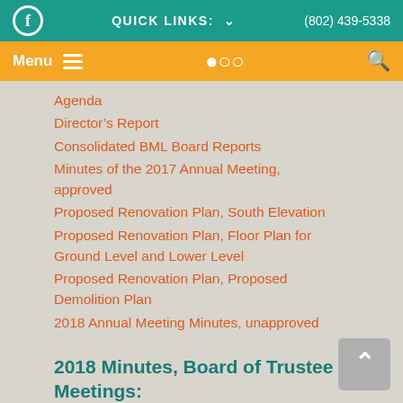Facebook  QUICK LINKS: ∨  (802) 439-5338
Menu ≡  🔍
Agenda
Director's Report
Consolidated BML Board Reports
Minutes of the 2017 Annual Meeting, approved
Proposed Renovation Plan, South Elevation
Proposed Renovation Plan, Floor Plan for Ground Level and Lower Level
Proposed Renovation Plan, Proposed Demolition Plan
2018 Annual Meeting Minutes, unapproved
2018 Minutes, Board of Trustee Meetings: